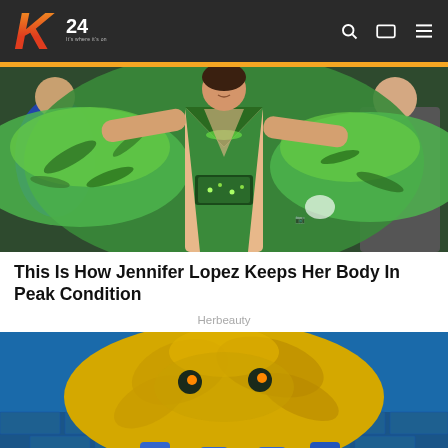K24 — It's where it's on
[Figure (photo): Jennifer Lopez wearing a green tropical Versace dress with deep neckline, arms outstretched, at a formal event with people in background]
This Is How Jennifer Lopez Keeps Her Body In Peak Condition
Herbeauty
[Figure (photo): Animated or illustrated scene with large yellow creature/monster on a blue and green background]